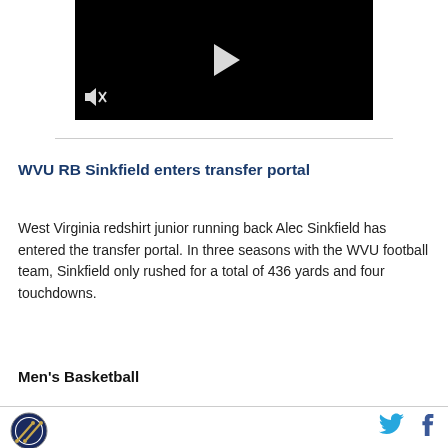[Figure (screenshot): Black video player with white play button triangle in center and mute/speaker icon in bottom-left corner]
WVU RB Sinkfield enters transfer portal
West Virginia redshirt junior running back Alec Sinkfield has entered the transfer portal. In three seasons with the WVU football team, Sinkfield only rushed for a total of 436 yards and four touchdowns.
Men's Basketball
[Figure (logo): WVU or sports site circular logo with crossed rifles/weapons emblem]
[Figure (other): Twitter bird icon and Facebook f icon in cyan/blue]